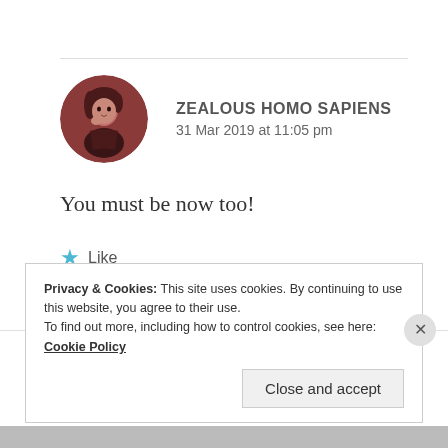ZEALOUS HOMO SAPIENS
31 Mar 2019 at 11:05 pm
You must be now too!
★ Like
Privacy & Cookies: This site uses cookies. By continuing to use this website, you agree to their use.
To find out more, including how to control cookies, see here: Cookie Policy
Close and accept